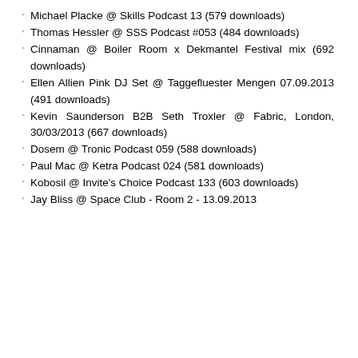Michael Placke @ Skills Podcast 13 (579 downloads)
Thomas Hessler @ SSS Podcast #053 (484 downloads)
Cinnaman @ Boiler Room x Dekmantel Festival mix (692 downloads)
Ellen Allien Pink DJ Set @ Taggefluester Mengen 07.09.2013 (491 downloads)
Kevin Saunderson B2B Seth Troxler @ Fabric, London, 30/03/2013 (667 downloads)
Dosem @ Tronic Podcast 059 (588 downloads)
Paul Mac @ Ketra Podcast 024 (581 downloads)
Kobosil @ Invite's Choice Podcast 133 (603 downloads)
Jay Bliss @ Space Club - Room 2 - 13.09.2013